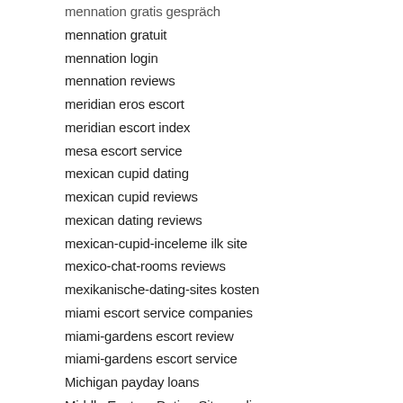mennation gratis gespräch
mennation gratuit
mennation login
mennation reviews
meridian eros escort
meridian escort index
mesa escort service
mexican cupid dating
mexican cupid reviews
mexican dating reviews
mexican-cupid-inceleme ilk site
mexico-chat-rooms reviews
mexikanische-dating-sites kosten
miami escort service companies
miami-gardens escort review
miami-gardens escort service
Michigan payday loans
Middle Eastern Dating Sites online
midland escort index